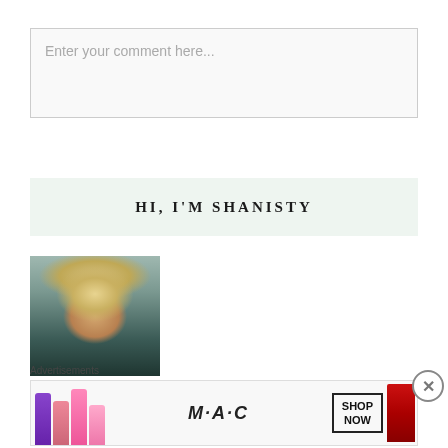Enter your comment here...
HI, I'M SHANISTY
[Figure (photo): Profile photo of a blonde woman smiling, wearing a dark top]
Advertisements
[Figure (infographic): MAC cosmetics advertisement banner showing lipsticks and 'SHOP NOW' box]